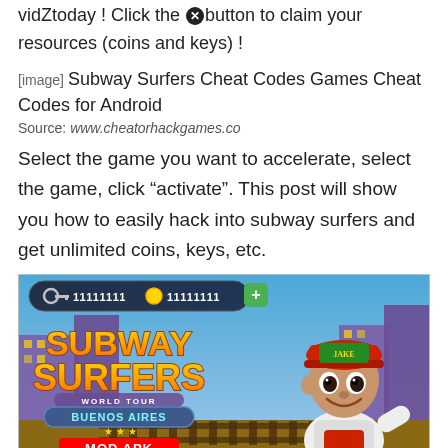vidZtoday ! Click the button to claim your resources (coins and keys) !
[image] Subway Surfers Cheat Codes Games Cheat Codes for Android
Source: www.cheatorhackgames.co
Select the game you want to accelerate, select the game, click “activate”. This post will show you how to easily hack into subway surfers and get unlimited coins, keys, etc.
[Figure (screenshot): Subway Surfers World Tour Buenos Aires MOD APK screenshot showing the game logo with hacked coin and key counters showing 11111111]
Source: instantautofollowers.com